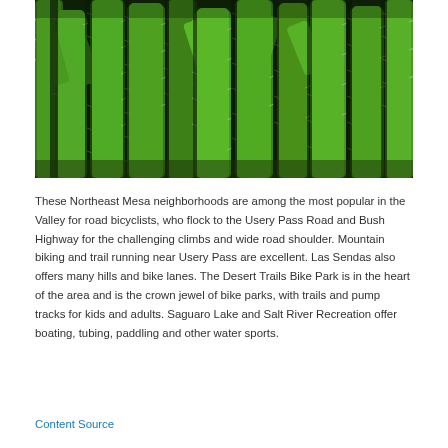[Figure (photo): Close-up photograph of tall green cactus plants with spines, multiple columnar cacti filling the frame]
These Northeast Mesa neighborhoods are among the most popular in the Valley for road bicyclists, who flock to the Usery Pass Road and Bush Highway for the challenging climbs and wide road shoulder. Mountain biking and trail running near Usery Pass are excellent. Las Sendas also offers many hills and bike lanes. The Desert Trails Bike Park is in the heart of the area and is the crown jewel of bike parks, with trails and pump tracks for kids and adults. Saguaro Lake and Salt River Recreation offer boating, tubing, paddling and other water sports.
Content Source